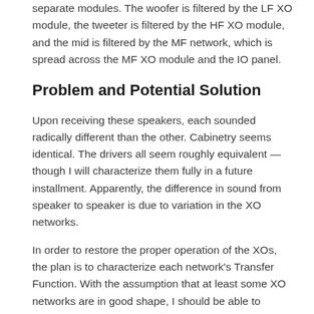separate modules. The woofer is filtered by the LF XO module, the tweeter is filtered by the HF XO module, and the mid is filtered by the MF network, which is spread across the MF XO module and the IO panel.
Problem and Potential Solution
Upon receiving these speakers, each sounded radically different than the other. Cabinetry seems identical. The drivers all seem roughly equivalent — though I will characterize them fully in a future installment. Apparently, the difference in sound from speaker to speaker is due to variation in the XO networks.
In order to restore the proper operation of the XOs, the plan is to characterize each network's Transfer Function. With the assumption that at least some XO networks are in good shape, I should be able to determine which XO networks have drifted from their factory values, and then drill down to component level troubleshooting to identify the failed components.
I have access to a tool called SMAART, which is a computer program that measures and compares audio signals. Using SMAART, I can compare the relative amplitude and phase, between the input to an XO...